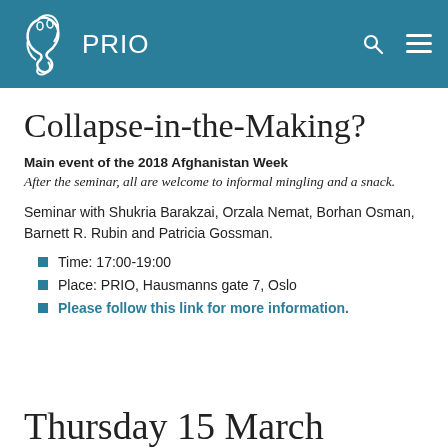PRIO
Collapse-in-the-Making?
Main event of the 2018 Afghanistan Week
After the seminar, all are welcome to informal mingling and a snack.
Seminar with Shukria Barakzai, Orzala Nemat, Borhan Osman, Barnett R. Rubin and Patricia Gossman.
Time: 17:00-19:00
Place: PRIO, Hausmanns gate 7, Oslo
Please follow this link for more information.
Thursday 15 March